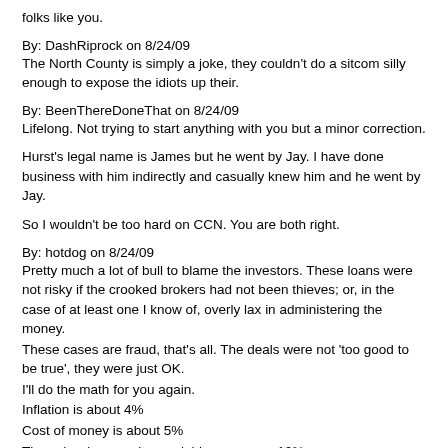folks like you.
By: DashRiprock on 8/24/09
The North County is simply a joke, they couldn't do a sitcom silly enough to expose the idiots up their.
By: BeenThereDoneThat on 8/24/09
Lifelong. Not trying to start anything with you but a minor correction.
Hurst's legal name is James but he went by Jay. I have done business with him indirectly and casually knew him and he went by Jay.
So I wouldn't be too hard on CCN. You are both right.
By: hotdog on 8/24/09
Pretty much a lot of bull to blame the investors. These loans were not risky if the crooked brokers had not been thieves; or, in the case of at least one I know of, overly lax in administering the money.
These cases are fraud, that's all. The deals were not 'too good to be true', they were just OK.
I'll do the math for you again.
Inflation is about 4%
Cost of money is about 5%
These hard money loans yield on average 12%.